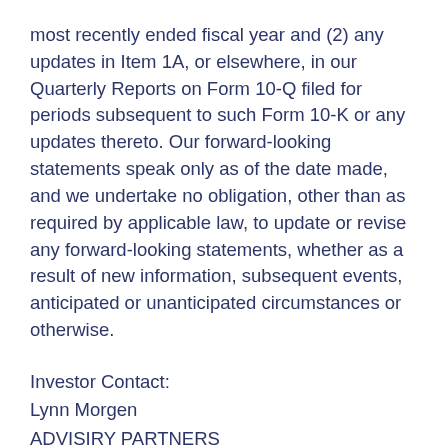most recently ended fiscal year and (2) any updates in Item 1A, or elsewhere, in our Quarterly Reports on Form 10-Q filed for periods subsequent to such Form 10-K or any updates thereto. Our forward-looking statements speak only as of the date made, and we undertake no obligation, other than as required by applicable law, to update or revise any forward-looking statements, whether as a result of new information, subsequent events, anticipated or unanticipated circumstances or otherwise.
Investor Contact:
Lynn Morgen
ADVISIRY PARTNERS
lynn.morgen@advisiry.com
+1.212.750.5800